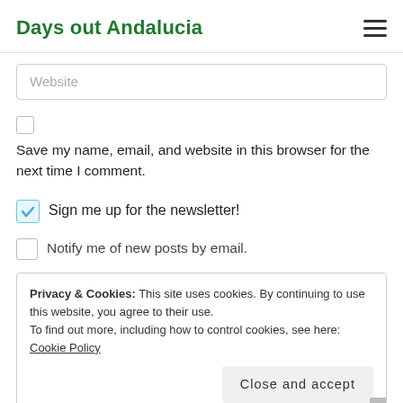Days out Andalucia
Website
Save my name, email, and website in this browser for the next time I comment.
Sign me up for the newsletter!
Notify me of new posts by email.
Privacy & Cookies: This site uses cookies. By continuing to use this website, you agree to their use.
To find out more, including how to control cookies, see here: Cookie Policy
Close and accept